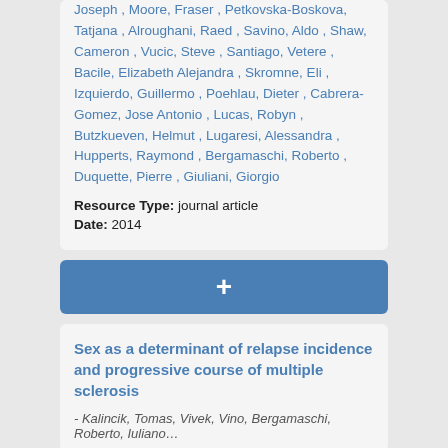Joseph , Moore, Fraser , Petkovska-Boskova, Tatjana , Alroughani, Raed , Savino, Aldo , Shaw, Cameron , Vucic, Steve , Santiago, Vetere , Bacile, Elizabeth Alejandra , Skromne, Eli , Izquierdo, Guillermo , Poehlau, Dieter , Cabrera-Gomez, Jose Antonio , Lucas, Robyn , Butzkueven, Helmut , Lugaresi, Alessandra , Hupperts, Raymond , Bergamaschi, Roberto , Duquette, Pierre , Giuliani, Giorgio
Resource Type: journal article
Date: 2014
+
Sex as a determinant of relapse incidence and progressive course of multiple sclerosis
- Kalincik, Tomas, Vivek, Vino, Bergamaschi, Roberto, Iuliano…